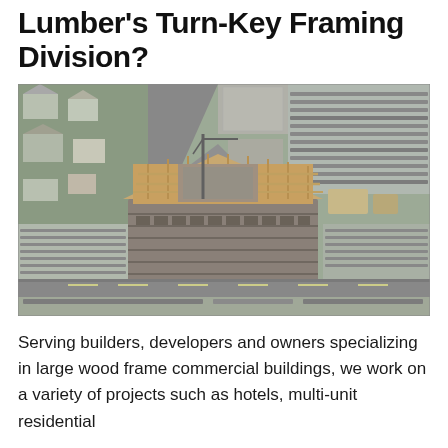Lumber's Turn-Key Framing Division?
[Figure (photo): Aerial photograph of a large multi-story wood frame building under construction in an urban area, surrounded by parking lots, roads, and residential and commercial buildings. The building shows exposed wood framing on upper floors.]
Serving builders, developers and owners specializing in large wood frame commercial buildings, we work on a variety of projects such as hotels, multi-unit residential